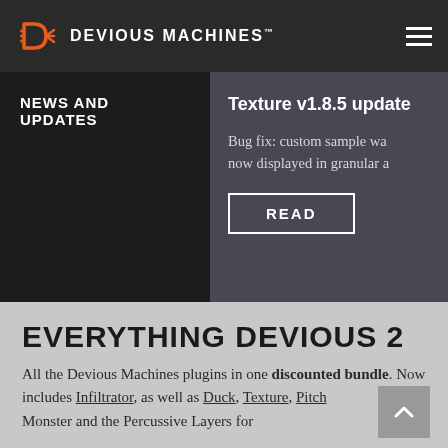DEVIOUS MACHINES
NEWS AND UPDATES
Texture v1.8.5 update
Bug fix: custom sample wa... now displayed in granular a...
READ
EVERYTHING DEVIOUS 2
All the Devious Machines plugins in one discounted bundle. Now includes Infiltrator, as well as Duck, Texture, Pitch Monster and the Percussive Layers for